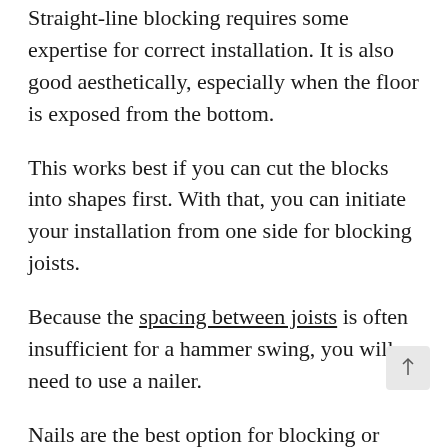Straight-line blocking requires some expertise for correct installation. It is also good aesthetically, especially when the floor is exposed from the bottom.
This works best if you can cut the blocks into shapes first. With that, you can initiate your installation from one side for blocking joists.
Because the spacing between joists is often insufficient for a hammer swing, you will need to use a nailer.
Nails are the best option for blocking or bridging. When compared to screws, nails provide